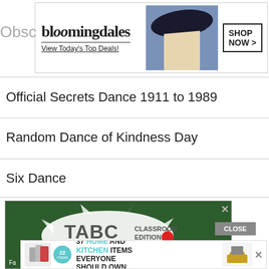[Figure (screenshot): Bloomingdale's advertisement banner with woman in blue hat, 'View Today's Top Deals!' text, and 'SHOP NOW >' button]
Obsc
Official Secrets Dance 1911 to 1989
Random Dance of Kindness Day
Six Dance
[Figure (screenshot): TABC Classroom Edition advertisement on green chalkboard background with 'Where Best-selling Authors' text and 'CLOSE' button]
[Figure (screenshot): Overlay advertisement: '22 ITEMS - 37 HOME AND KITCHEN ITEMS EVERYONE SHOULD OWN' with kitchen product images]